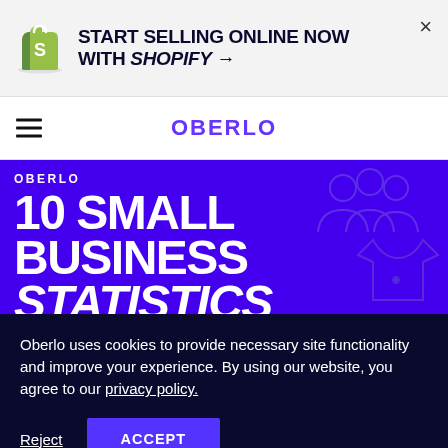[Figure (logo): Shopify logo green shopping bag with S]
START SELLING ONLINE NOW WITH SHOPIFY →
OBERLO
[Figure (illustration): Oberlo 10 Small Business Statistics banner with blue background and decorative icons (people group, t-shirt)]
Oberlo uses cookies to provide necessary site functionality and improve your experience. By using our website, you agree to our privacy policy.
Reject  ACCEPT